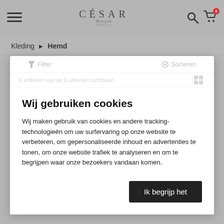[Figure (screenshot): Website header with hamburger menu on left, César Masque logo in center, search and cart icons on right]
Kleding > Hemd
[Figure (screenshot): Filter and Sorteren bar partially visible behind cookie modal]
Wij gebruiken cookies
Wij maken gebruik van cookies en andere tracking-technologieën om uw surfervaring op onze website te verbeteren, om gepersonaliseerde inhoud en advertenties te tonen, om onze website trafiek te analyseren en om te begrijpen waar onze bezoekers vandaan komen.
Ik begrijp het